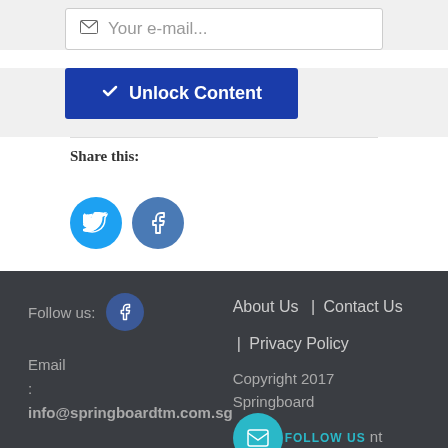Your e-mail...
✓ Unlock Content
Share this:
[Figure (illustration): Twitter and Facebook circular social media share buttons]
Follow us: [Facebook icon] | Email : info@springboardtm.com.sg | About Us | Contact Us | Privacy Policy | Copyright 2017 Springboard Talent Management P | All Rights Reserved | FOLLOW US badge
About Us | Contact Us | Privacy Policy
Copyright 2017 Springboard Talent Management P | All Rights Reserved